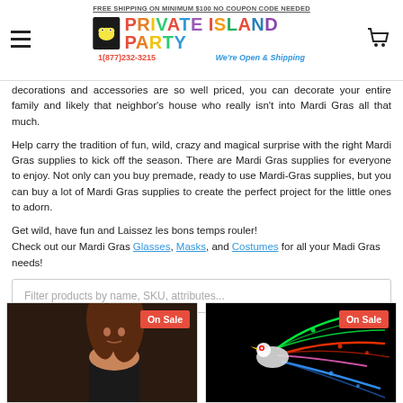FREE SHIPPING ON MINIMUM $100 NO COUPON CODE NEEDED | PRIVATE ISLAND PARTY | 1(877)232-3215 | We're Open & Shipping
decorations and accessories are so well priced, you can decorate your entire family and likely that neighbor's house who really isn't into Mardi Gras all that much.
Help carry the tradition of fun, wild, crazy and magical surprise with the right Mardi Gras supplies to kick off the season. There are Mardi Gras supplies for everyone to enjoy. Not only can you buy premade, ready to use Mardi-Gras supplies, but you can buy a lot of Mardi Gras supplies to create the perfect project for the little ones to adorn.
Get wild, have fun and Laissez les bons temps rouler!
Check out our Mardi Gras Glasses, Masks, and Costumes for all your Madi Gras needs!
Filter products by name, SKU, attributes...
[Figure (photo): Woman with long brown hair wearing a black lace glove, with 'On Sale' red badge]
[Figure (photo): Glowing colorful LED fiber optic bird/peacock decoration on black background, with 'On Sale' red badge]